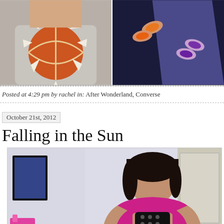[Figure (photo): Two side-by-side photos: left shows a person wearing a grey t-shirt with an orange basketball/sun design; right shows a person with orange and purple nail polish holding something against a dark background.]
Posted at 4:29 pm by rachel in: After Wonderland, Converse
October 21st, 2012
Falling in the Sun
[Figure (photo): A young woman with dark hair wearing a pink/magenta t-shirt taking a mirror selfie with a black phone, in a bedroom setting.]